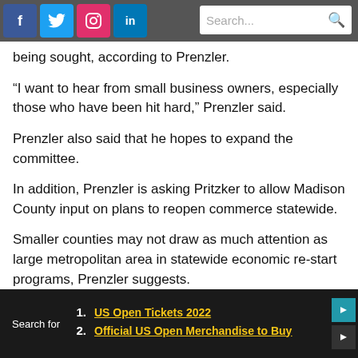Social media icons (Facebook, Twitter, Instagram, LinkedIn) and Search bar
being sought, according to Prenzler.
“I want to hear from small business owners, especially those who have been hit hard,” Prenzler said.
Prenzler also said that he hopes to expand the committee.
In addition, Prenzler is asking Pritzker to allow Madison County input on plans to reopen commerce statewide.
Smaller counties may not draw as much attention as large metropolitan area in statewide economic re-start programs, Prenzler suggests.
Search for
1. US Open Tickets 2022
2. Official US Open Merchandise to Buy